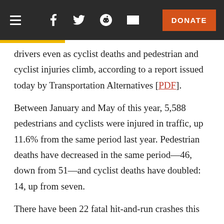Navigation bar with hamburger menu, social icons (Facebook, Twitter, Reddit, Email), and DONATE button
drivers even as cyclist deaths and pedestrian and cyclist injuries climb, according to a report issued today by Transportation Alternatives [PDF].
Between January and May of this year, 5,588 pedestrians and cyclists were injured in traffic, up 11.6% from the same period last year. Pedestrian deaths have decreased in the same period—46, down from 51—and cyclist deaths have doubled: 14, up from seven.
There have been 22 fatal hit-and-run crashes this